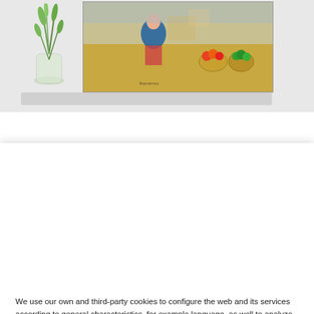[Figure (photo): Top portion of an art e-commerce website showing a painting of a market scene (figures, baskets of fruit/vegetables) displayed on a white shelf next to a glass vase with green plants. Olive/dark green banner below the product area.]
We use our own and third-party cookies to configure the web and its services according to general characteristics, for example language, as well to analyze our services, the activity of the web in order to improve its content and your experience. By clicking “Accept” you consent to the use of ALL the cookies. By clicking on “Cookie settings” you will find more information and also more information about our cookies policy HERE.
Cookie settings
ACCEPT